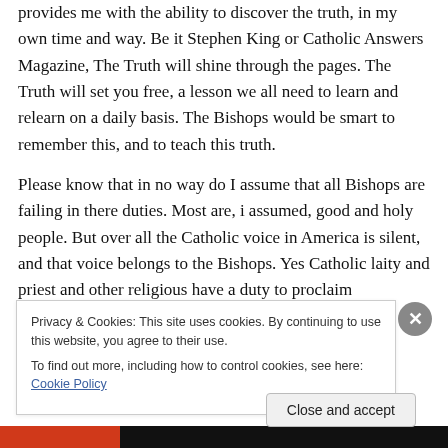provides me with the ability to discover the truth, in my own time and way. Be it Stephen King or Catholic Answers Magazine, The Truth will shine through the pages. The Truth will set you free, a lesson we all need to learn and relearn on a daily basis. The Bishops would be smart to remember this, and to teach this truth.
Please know that in no way do I assume that all Bishops are failing in there duties. Most are, i assumed, good and holy people. But over all the Catholic voice in America is silent, and that voice belongs to the Bishops. Yes Catholic laity and priest and other religious have a duty to proclaim
Privacy & Cookies: This site uses cookies. By continuing to use this website, you agree to their use.
To find out more, including how to control cookies, see here: Cookie Policy
Close and accept